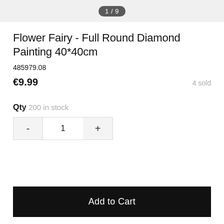1/9
Flower Fairy - Full Round Diamond Painting 40*40cm
485979.08
€9.99   4 sold
Qty 200 in stock
- 1 +
Add to Cart